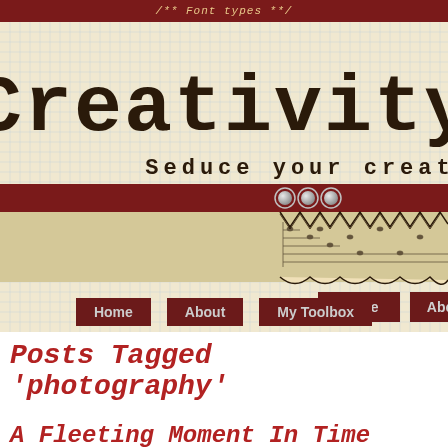/** Font types **/
[Figure (illustration): Blog header banner with graph-paper/grid background, large 'Creativity' title in dark brown typewriter font, tagline 'Seduce your creat...' in monospace, dark red navigation bar with decorative diamond-shaped buttons, lace/knitting decorative strip]
Home  About  My Toolbox
Posts Tagged 'photography'
A Fleeting Moment In Time
Monday, August 29th, 2011
[Figure (illustration): Twitter and Flickr social share icons]